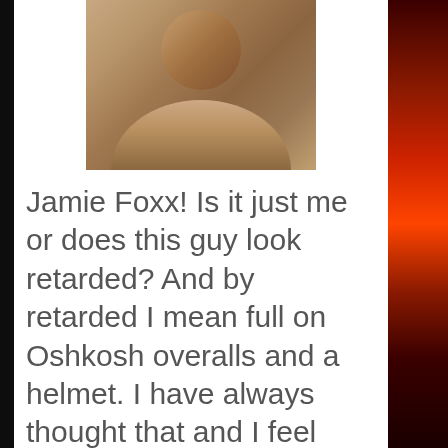[Figure (photo): Photo of a man (Jamie Foxx) smiling, wearing a striped shirt, cropped to show head and upper body]
Jamie Foxx! Is it just me or does this guy look retarded? And by retarded I mean full on Oshkosh overalls and a helmet. I have always thought that and I feel liberated to speak my mind. But his powerful